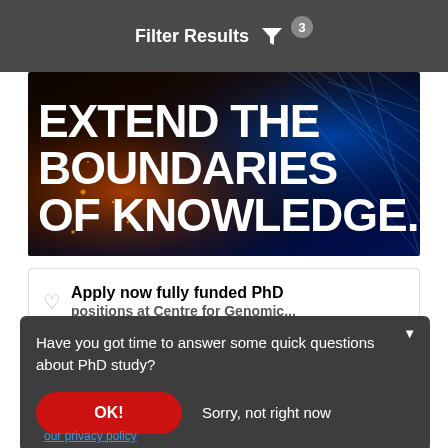Filter Results
[Figure (photo): Dark banner image with cosmic/technology background (orange sparks and blue fiber optics), with bold white text reading 'EXTEND THE BOUNDARIES OF KNOWLEDGE.']
EXTEND THE BOUNDARIES OF KNOWLEDGE.
Apply now fully funded PhD positions at Centre for Genomic...
Have you got time to answer some quick questions about PhD study?
OK!
Sorry, not right now
our privacy policy